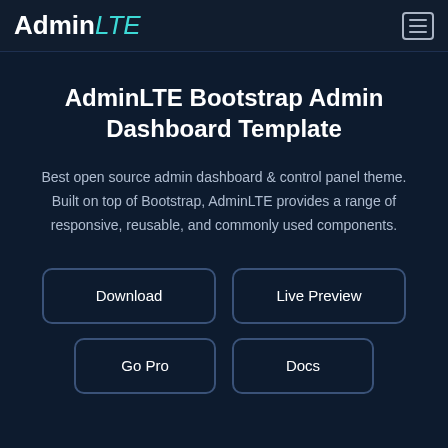AdminLTE (logo/nav bar)
AdminLTE Bootstrap Admin Dashboard Template
Best open source admin dashboard & control panel theme. Built on top of Bootstrap, AdminLTE provides a range of responsive, reusable, and commonly used components.
Download
Live Preview
Go Pro
Docs